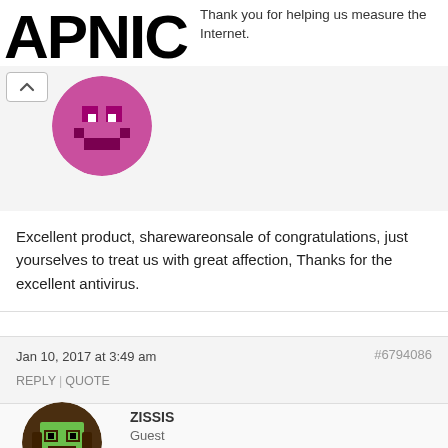[Figure (logo): APNIC logo text in bold black with partial pink avatar below]
Thank you for helping us measure the Internet.
Excellent product, sharewareonsale of congratulations, just yourselves to treat us with great affection, Thanks for the excellent antivirus.
Jan 10, 2017 at 3:49 am
#6794086
REPLY | QUOTE
ZISSIS
Guest
[Figure (illustration): Green pixel-art style avatar]
Ashraf wrote: Have something to say about AVG Internet Security 2016? Say it here! Have suggestions, comments, or need help? Post it here! If you know of better software than AVG Internet Security 2016, post it here! If you know of issues with AVG Internet Security 2016, post it